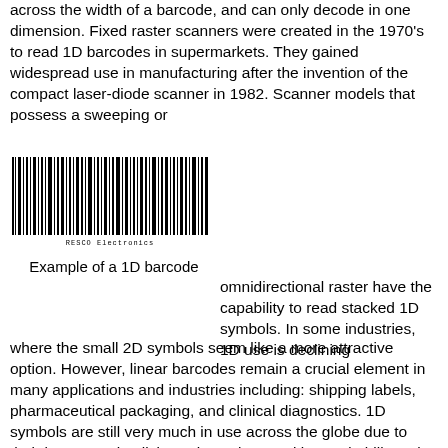across the width of a barcode, and can only decode in one dimension. Fixed raster scanners were created in the 1970's to read 1D barcodes in supermarkets. They gained widespread use in manufacturing after the invention of the compact laser-diode scanner in 1982. Scanner models that possess a sweeping or
[Figure (illustration): A 1D barcode image labeled 'RESCO Electronics' beneath the bars]
Example of a 1D barcode
omnidirectional raster have the capability to read stacked 1D symbols. In some industries, 1D use is declining
where the small 2D symbols seem like a more attractive option. However, linear barcodes remain a crucial element in many applications and industries including: shipping labels, pharmaceutical packaging, and clinical diagnostics. 1D symbols are still very much in use across the globe due to their low cost, simplicity, universal recognition and ability to be printed and decoded easily. If an application uses a 1D